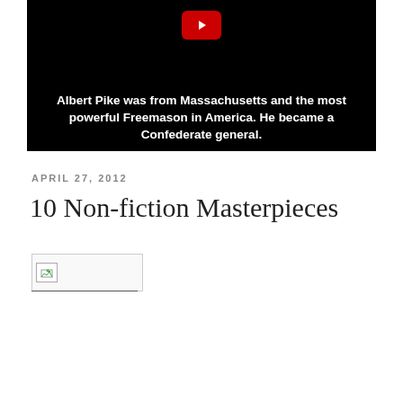[Figure (screenshot): A YouTube video thumbnail with black background showing text about Albert Pike. The caption reads: 'Albert Pike was from Massachusetts and the most powerful Freemason in America. He became a Confederate general.']
Albert Pike was from Massachusetts and the most powerful Freemason in America. He became a Confederate general.
APRIL 27, 2012
10 Non-fiction Masterpieces
[Figure (photo): A broken/unloaded image placeholder showing a small image icon with a green arrow.]